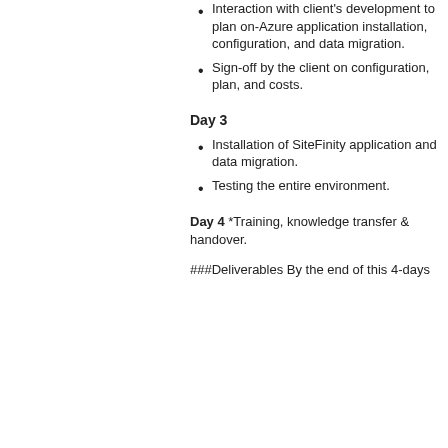Interaction with client's development to plan on-Azure application installation, configuration, and data migration.
Sign-off by the client on configuration, plan, and costs.
Day 3
Installation of SiteFinity application and data migration.
Testing the entire environment.
Day 4 *Training, knowledge transfer & handover.
###Deliverables By the end of this 4-days